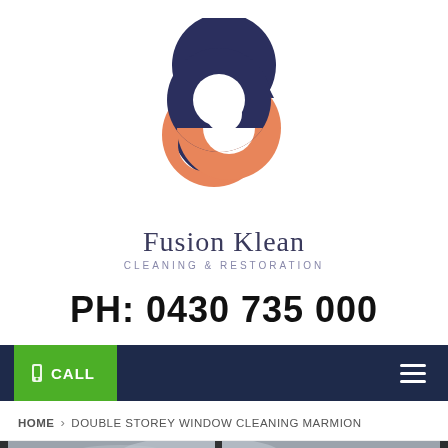[Figure (logo): Fusion Klean Cleaning & Restoration logo — two interlocking rings, one dark navy and one salmon/orange, forming a swirl shape with a white centre, above the text 'Fusion Klean' and 'CLEANING & RESTORATION']
PH: 0430 735 000
CALL
HOME > DOUBLE STOREY WINDOW CLEANING MARMION
[Figure (photo): Partial city skyline photo viewed through large dark-framed windows, overcast sky, tall buildings visible in the background]